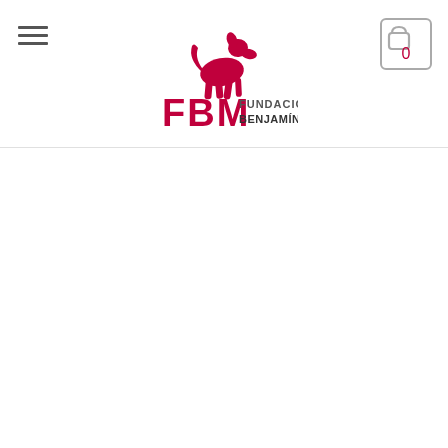[Figure (logo): FBM Fundación Benjamín Mehnert logo — a pink/magenta greyhound dog sitting on top of block letters FBM, with text FUNDACIÓN and a pink bar, and BENJAMÍN MEHNERT beneath]
[Figure (other): Hamburger menu icon — three horizontal dark grey lines stacked vertically, top left of header]
[Figure (other): Shopping cart icon — outlined square with rounded top handle, showing number 0 in red/magenta, top right of header]